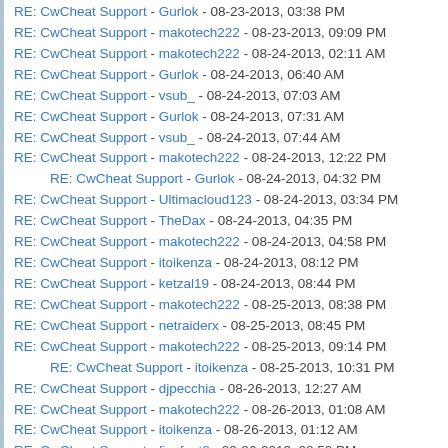RE: CwCheat Support - Gurlok - 08-23-2013, 03:38 PM
RE: CwCheat Support - makotech222 - 08-23-2013, 09:09 PM
RE: CwCheat Support - makotech222 - 08-24-2013, 02:11 AM
RE: CwCheat Support - Gurlok - 08-24-2013, 06:40 AM
RE: CwCheat Support - vsub_ - 08-24-2013, 07:03 AM
RE: CwCheat Support - Gurlok - 08-24-2013, 07:31 AM
RE: CwCheat Support - vsub_ - 08-24-2013, 07:44 AM
RE: CwCheat Support - makotech222 - 08-24-2013, 12:22 PM
RE: CwCheat Support - Gurlok - 08-24-2013, 04:32 PM (indented)
RE: CwCheat Support - Ultimacloud123 - 08-24-2013, 03:34 PM
RE: CwCheat Support - TheDax - 08-24-2013, 04:35 PM
RE: CwCheat Support - makotech222 - 08-24-2013, 04:58 PM
RE: CwCheat Support - itoikenza - 08-24-2013, 08:12 PM
RE: CwCheat Support - ketzal19 - 08-24-2013, 08:44 PM
RE: CwCheat Support - makotech222 - 08-25-2013, 08:38 PM
RE: CwCheat Support - netraiderx - 08-25-2013, 08:45 PM
RE: CwCheat Support - makotech222 - 08-25-2013, 09:14 PM
RE: CwCheat Support - itoikenza - 08-25-2013, 10:31 PM (indented)
RE: CwCheat Support - djpecchia - 08-26-2013, 12:27 AM
RE: CwCheat Support - makotech222 - 08-26-2013, 01:08 AM
RE: CwCheat Support - itoikenza - 08-26-2013, 01:12 AM
RE: CwCheat Support - fivefeet8 - 08-26-2013, 08:50 PM
RE: CwCheat Support - makotech222 - 08-26-2013, 09:33 PM
RE: CwCheat Support - aki21 - 08-26-2013, 09:50 PM